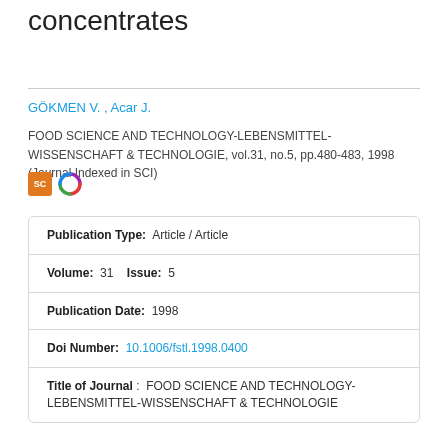concentrates
GÖKMEN V. , Acar J.
FOOD SCIENCE AND TECHNOLOGY-LEBENSMITTEL-WISSENSCHAFT & TECHNOLOGIE, vol.31, no.5, pp.480-483, 1998 (Journal Indexed in SCI)
| Publication Type: | Article / Article |
| Volume: | 31   Issue:  5 |
| Publication Date: | 1998 |
| Doi Number: | 10.1006/fstl.1998.0400 |
| Title of Journal: | FOOD SCIENCE AND TECHNOLOGY-LEBENSMITTEL-WISSENSCHAFT & TECHNOLOGIE |